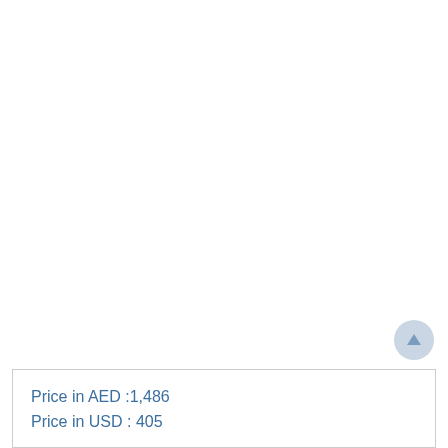Price in AED :1,486
Price in USD : 405